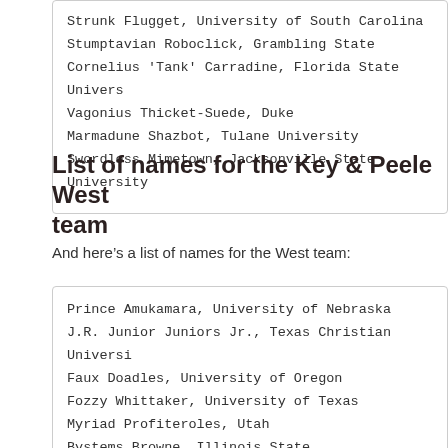Strunk Flugget, University of South Carolina
Stumptavian Roboclick, Grambling State
Cornelius 'Tank' Carradine, Florida State University
Vagonius Thicket-Suede, Duke
Marmadune Shazbot, Tulane University
Swordless Mimetown, Jacksonville State University
List of names for the Key & Peele West team
And here’s a list of names for the West team:
Prince Amukamara, University of Nebraska
J.R. Junior Juniors Jr., Texas Christian University
Faux Doadles, University of Oregon
Fozzy Whittaker, University of Texas
Myriad Profiteroles, Utah
Bystems Browne, Illinois State